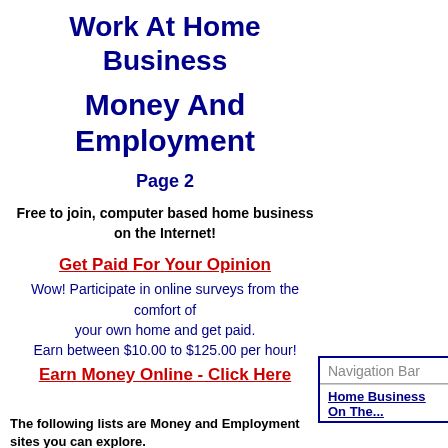Work At Home Business
Money And Employment
Page 2
Free to join, computer based home business on the Internet!
Get Paid For Your Opinion
Wow! Participate in online surveys from the comfort of your own home and get paid.
Earn between $10.00 to $125.00 per hour!
Earn Money Online - Click Here
The following lists are Money and Employment sites you can explore.
The... sites that are in...
Navigation Bar
Home Business On The...